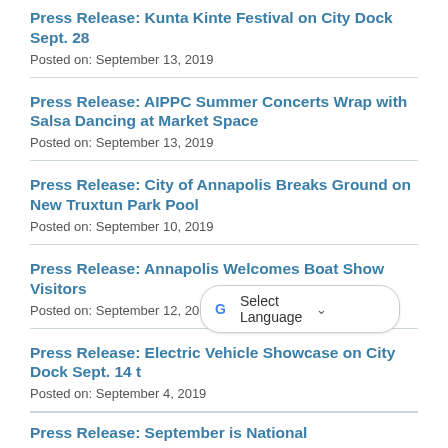Press Release: Kunta Kinte Festival on City Dock Sept. 28
Posted on: September 13, 2019
Press Release: AIPPC Summer Concerts Wrap with Salsa Dancing at Market Space
Posted on: September 13, 2019
Press Release: City of Annapolis Breaks Ground on New Truxtun Park Pool
Posted on: September 10, 2019
Press Release: Annapolis Welcomes Boat Show Visitors
Posted on: September 12, 2019
Press Release: Electric Vehicle Showcase on City Dock Sept. 14 t
Posted on: September 4, 2019
Press Release: September is National…